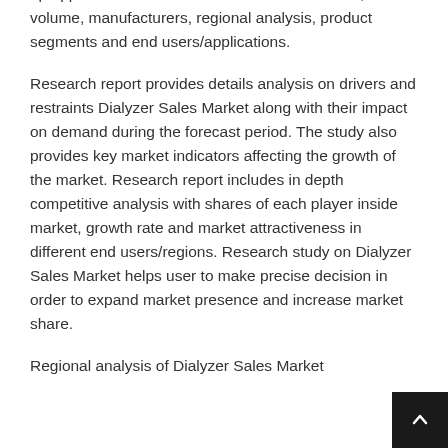up approach in order to validate market revenue, volume, manufacturers, regional analysis, product segments and end users/applications.
Research report provides details analysis on drivers and restraints Dialyzer Sales Market along with their impact on demand during the forecast period. The study also provides key market indicators affecting the growth of the market. Research report includes in depth competitive analysis with shares of each player inside market, growth rate and market attractiveness in different end users/regions. Research study on Dialyzer Sales Market helps user to make precise decision in order to expand market presence and increase market share.
Regional analysis of Dialyzer Sales Market